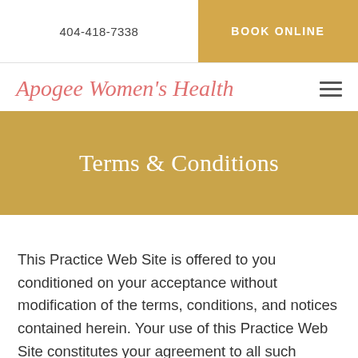404-418-7338
BOOK ONLINE
Apogee Women's Health
Terms & Conditions
This Practice Web Site is offered to you conditioned on your acceptance without modification of the terms, conditions, and notices contained herein. Your use of this Practice Web Site constitutes your agreement to all such terms, conditions, and notices.